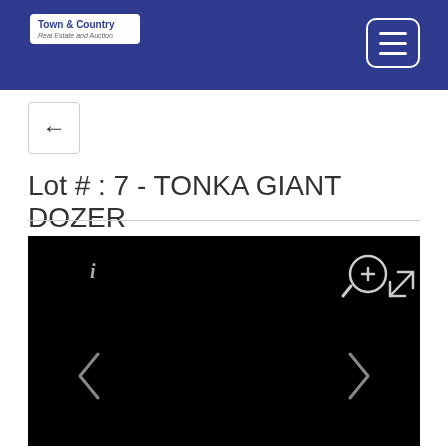Town & Country Real Estate and Auction
Lot # : 7 - TONKA GIANT DOZER
[Figure (screenshot): Black image viewer panel with navigation controls: info icon (i), zoom-in button (magnifier with +), expand/fullscreen button (diagonal arrows), left chevron arrow, right chevron arrow. The main image area is entirely black (no image loaded or loading).]